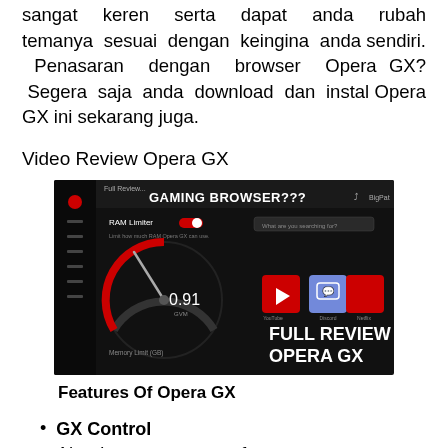sangat keren serta dapat anda rubah temanya sesuai dengan keingina anda sendiri. Penasaran dengan browser Opera GX? Segera saja anda download dan instal Opera GX ini sekarang juga.
Video Review Opera GX
[Figure (screenshot): YouTube video thumbnail showing Opera GX full review with text GAMING BROWSER??? and FULL REVIEW OPERA GX, showing RAM Limiter interface with 0.91 GVM reading and streaming service icons]
Features Of Opera GX
GX Control
Need every ounce of power your